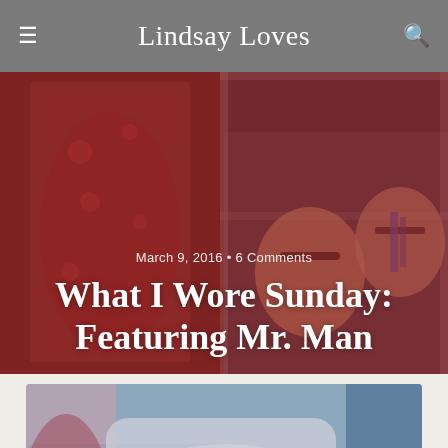Lindsay Loves
[Figure (photo): Hero banner photo showing two people smiling, overlaid with a red/crimson color wash, with post title and date metadata]
March 9, 2016 • 6 Comments
What I Wore Sunday: Featuring Mr. Man
[Figure (photo): Article thumbnail image showing clothing/laundry pile with a semi-transparent rounded overlay box containing the text 'What I Wore']